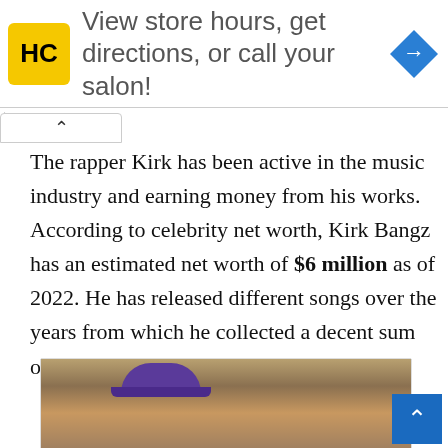[Figure (other): Advertisement banner for a salon: yellow HC logo, text 'View store hours, get directions, or call your salon!', blue diamond navigation arrow]
The rapper Kirk has been active in the music industry and earning money from his works. According to celebrity net worth, Kirk Bangz has an estimated net worth of $6 million as of 2022. He has released different songs over the years from which he collected a decent sum of money.
[Figure (photo): Photo of Kirk Bangz, a man wearing a purple Raptors cap, sitting in a vehicle, smiling at the camera with tattoos visible]